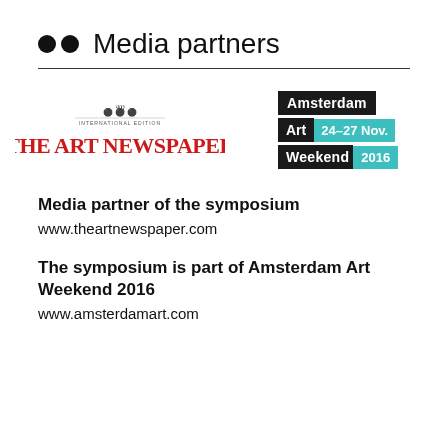●● Media partners
[Figure (logo): The Art Newspaper International Edition logo — red text 'THE ART NEWSPAPER' with decorative masthead illustration above]
[Figure (logo): Amsterdam Art Weekend 24–27 Nov. 2016 logo — three rows: 'Amsterdam' on black, 'Art' on black with '24–27 Nov.' on teal, 'Weekend' on black with '2016' on teal]
Media partner of the symposium
www.theartnewspaper.com
The symposium is part of Amsterdam Art Weekend 2016
www.amsterdamart.com